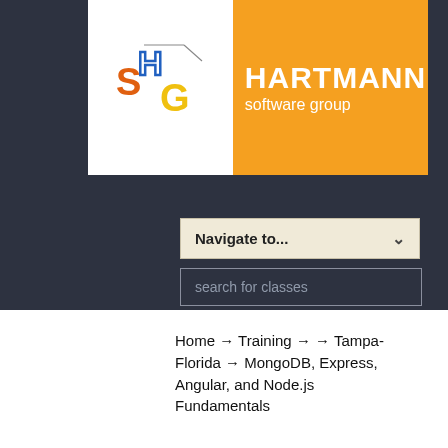[Figure (logo): Hartmann Software Group logo with colorful 3D cube letters S, H, G on white background and orange panel with company name]
Navigate to...
search for classes
Home → Training → → Tampa-Florida → MongoDB, Express, Angular, and Node.js Fundamentals